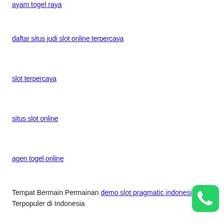ayam togel raya
daftar situs judi slot online terpercaya
slot terpercaya
situs slot online
agen togel online
Tempat Bermain Permainan demo slot pragmatic indonesia Yang Terpopuler di Indonesia
[Figure (logo): WhatsApp green round button icon]